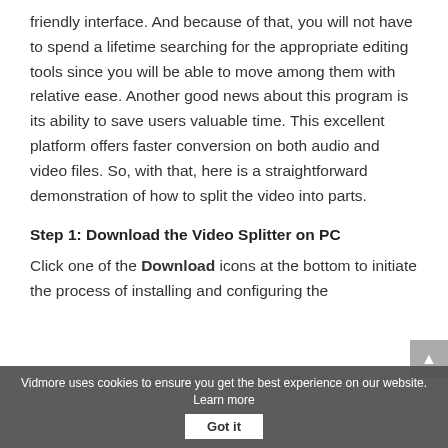friendly interface. And because of that, you will not have to spend a lifetime searching for the appropriate editing tools since you will be able to move among them with relative ease. Another good news about this program is its ability to save users valuable time. This excellent platform offers faster conversion on both audio and video files. So, with that, here is a straightforward demonstration of how to split the video into parts.
Step 1: Download the Video Splitter on PC
Click one of the Download icons at the bottom to initiate the process of installing and configuring the
device's setup is done, the program will start running.
Vidmore uses cookies to ensure you get the best experience on our website. Learn more  Got it